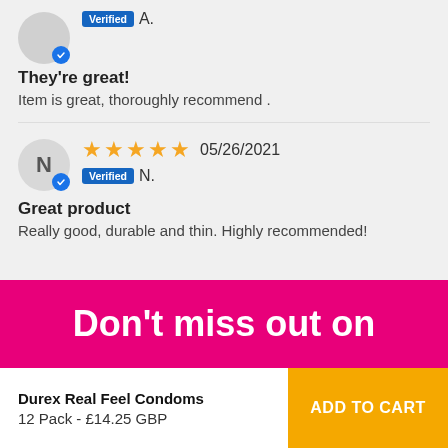They're great!
Item is great, thoroughly recommend .
★★★★★ 05/26/2021
Verified N.
Great product
Really good, durable and thin. Highly recommended!
Don't miss out on
Durex Real Feel Condoms
12 Pack - £14.25 GBP
ADD TO CART